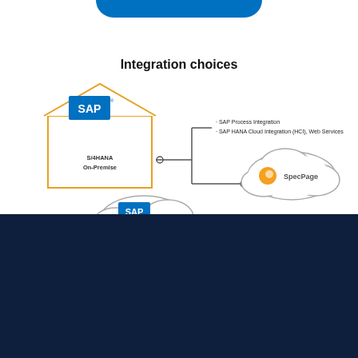[Figure (infographic): Integration choices diagram showing SAP S/4HANA On-Premise connected via SAP Process Integration and SAP HANA Cloud Integration (HCI), Web Services to SpecPage cloud, and another SAP cloud system below]
We use cookies to ensure that we give you the best experience on our website. If you continue to use this site we will assume that you are happy with it. Please see our privacy policy for further information.